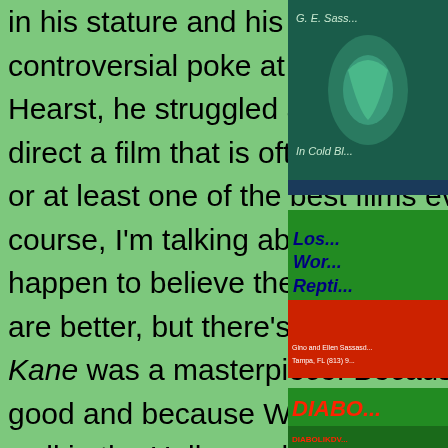in his stature and his work. Taking a controversial poke at media giant Randolph Hearst, he struggled against fierce odds to direct a film that is often considered the best, or at least one of the best films ever made. Of course, I'm talking about Citizen Kane. I happen to believe the first two Godfather films are better, but there's little doubt that Citizen Kane was a masterpiece. Because it was so good and because Welles never functioned well in the Hollywood system of his age, his other films often get
[Figure (photo): Partial book or DVD cover with green/teal background, text partially visible reading 'G.E. Sassa... In Cold Bl...']
[Figure (photo): Colorful movie or show cover with text 'Lost World Reptiles' on green and red background, small print reads 'Gino and Ellen Sassasd... Tampa, FL (813) 9...']
[Figure (photo): Partial movie poster with red text 'DIABO...' on green background, red graphic element, text at bottom reads 'DIABOLIKDV...']